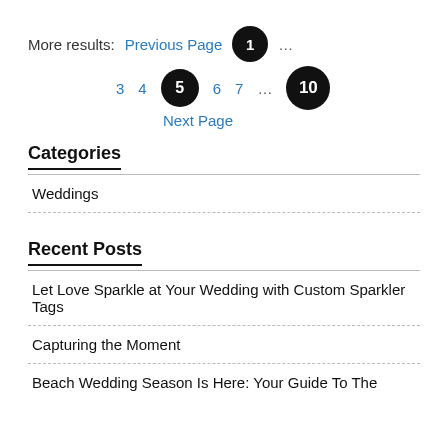More results: Previous Page 1 ... 3 4 5 6 7 ... 10 Next Page
Categories
Weddings
Recent Posts
Let Love Sparkle at Your Wedding with Custom Sparkler Tags
Capturing the Moment
Beach Wedding Season Is Here: Your Guide To The